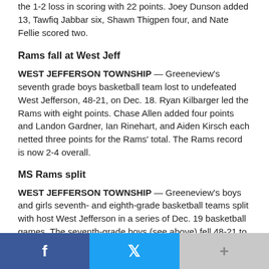the 1-2 loss in scoring with 22 points. Joey Dunson added 13, Tawfiq Jabbar six, Shawn Thigpen four, and Nate Fellie scored two.
Rams fall at West Jeff
WEST JEFFERSON TOWNSHIP — Greeneview's seventh grade boys basketball team lost to undefeated West Jefferson, 48-21, on Dec. 18. Ryan Kilbarger led the Rams with eight points. Chase Allen added four points and Landon Gardner, Ian Rinehart, and Aiden Kirsch each netted three points for the Rams' total. The Rams record is now 2-4 overall.
MS Rams split
WEST JEFFERSON TOWNSHIP — Greeneview's boys and girls seventh- and eighth-grade basketball teams split with host West Jefferson in a series of Dec. 19 basketball games. The seventh-grade boys (see above) fell 48-21 to West...
f  (Twitter icon)  +